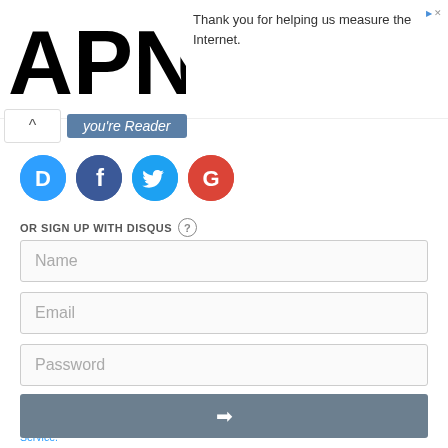[Figure (logo): APNIC logo in large bold black text]
Thank you for helping us measure the Internet.
you're Reader (partial, overlapping UI element)
[Figure (infographic): Social login icons: Disqus (D, blue), Facebook (F, dark blue), Twitter (bird, light blue), Google (G, red)]
OR SIGN UP WITH DISQUS ?
Name
Email
Password
Please access our Privacy Policy to learn what personal data Disqus collects and your choices about how it is used. All users of our service are also subject to our Terms of Service.